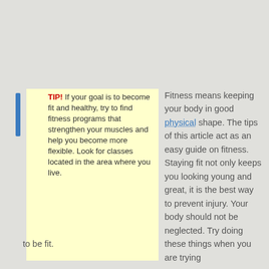TIP! If your goal is to become fit and healthy, try to find fitness programs that strengthen your muscles and help you become more flexible. Look for classes located in the area where you live.
Fitness means keeping your body in good physical shape. The tips of this article act as an easy guide on fitness. Staying fit not only keeps you looking young and great, it is the best way to prevent injury. Your body should not be neglected. Try doing these things when you are trying to be fit.